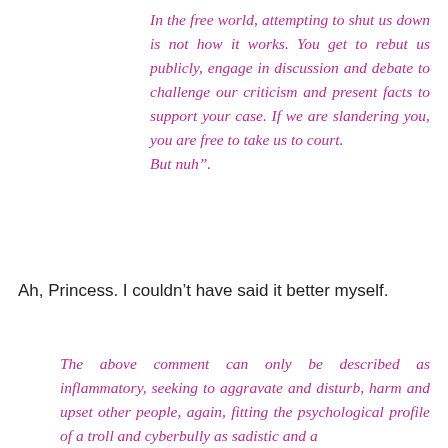In the free world, attempting to shut us down is not how it works. You get to rebut us publicly, engage in discussion and debate to challenge our criticism and present facts to support your case. If we are slandering you, you are free to take us to court.
But nuh".
Ah, Princess. I couldn't have said it better myself.
The above comment can only be described as inflammatory, seeking to aggravate and disturb, harm and upset other people, again, fitting the psychological profile of a troll and cyberbully as sadistic and a